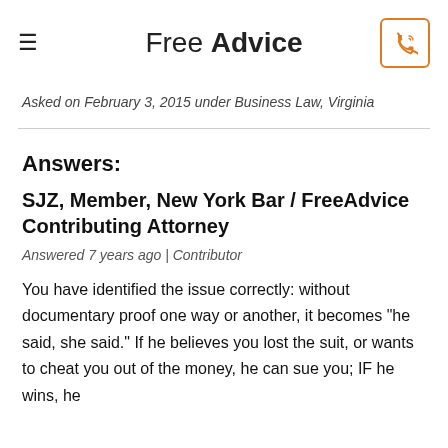Free Advice
Asked on February 3, 2015 under Business Law, Virginia
Answers:
SJZ, Member, New York Bar / FreeAdvice Contributing Attorney
Answered 7 years ago | Contributor
You have identified the issue correctly: without documentary proof one way or another, it becomes "he said, she said." If he believes you lost the suit, or wants to cheat you out of the money, he can sue you; IF he wins, he